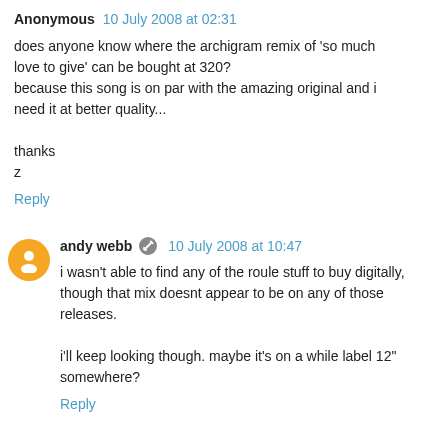Anonymous  10 July 2008 at 02:31
does anyone know where the archigram remix of 'so much love to give' can be bought at 320?
because this song is on par with the amazing original and i need it at better quality...

thanks
z
Reply
andy webb  10 July 2008 at 10:47
i wasn't able to find any of the roule stuff to buy digitally, though that mix doesnt appear to be on any of those releases.

i'll keep looking though. maybe it's on a while label 12" somewhere?
Reply